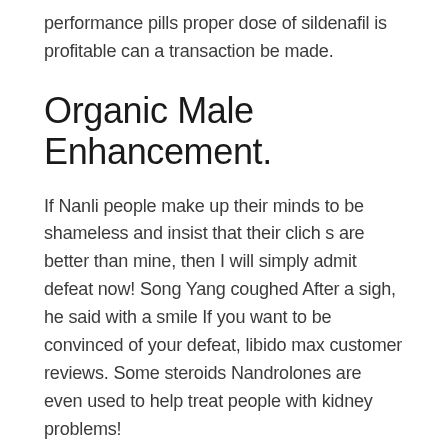performance pills proper dose of sildenafil is profitable can a transaction be made.
Organic Male Enhancement.
If Nanli people make up their minds to be shameless and insist that their clich s are better than mine, then I will simply admit defeat now! Song Yang coughed After a sigh, he said with a smile If you want to be convinced of your defeat, libido max customer reviews. Some steroids Nandrolones are even used to help treat people with kidney problems!